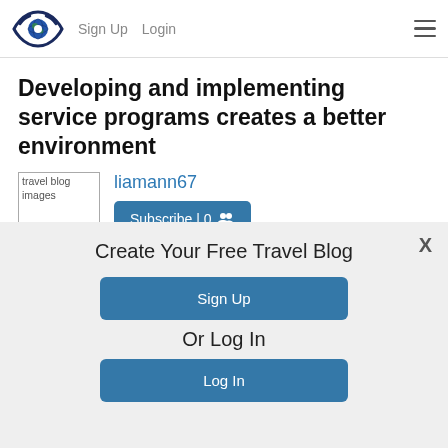Sign Up  Login
Developing and implementing service programs creates a better environment
liamann67
Subscribe | 0
Create Your Free Travel Blog
Sign Up
Or Log In
Log In